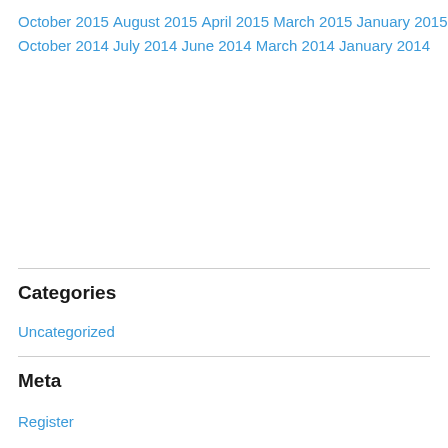October 2015
August 2015
April 2015
March 2015
January 2015
October 2014
July 2014
June 2014
March 2014
January 2014
Categories
Uncategorized
Meta
Register